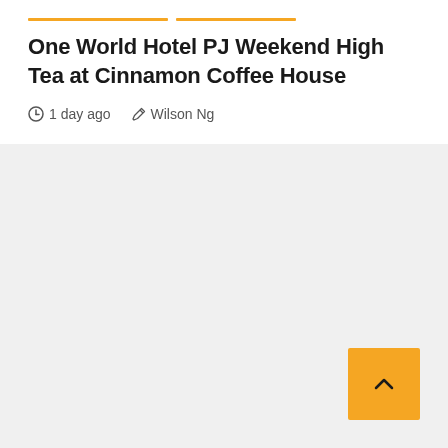One World Hotel PJ Weekend High Tea at Cinnamon Coffee House
1 day ago   Wilson Ng
[Figure (other): Back to top arrow button, golden/amber colored square with upward chevron arrow]